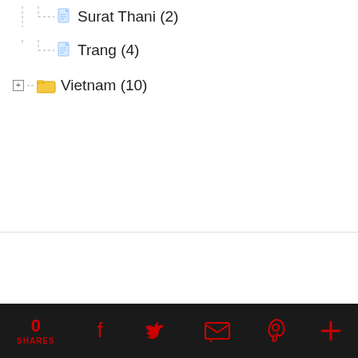Surat Thani (2)
Trang (4)
Vietnam (10)
0 SHARES [Facebook] [Twitter] [Email] [Pinterest] [More]